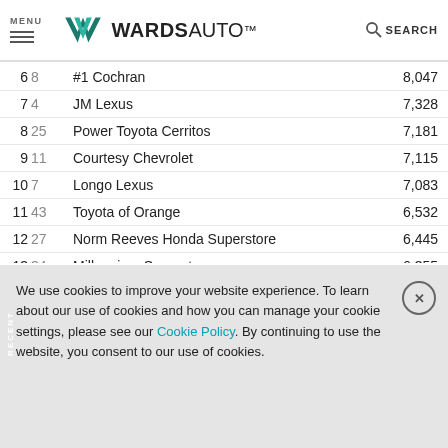MENU | WARDSAUTO | SEARCH
| Rank | Prior | Dealer | Units |
| --- | --- | --- | --- |
| 6 | 8 | #1 Cochran | 8,047 |
| 7 | 4 | JM Lexus | 7,328 |
| 8 | 25 | Power Toyota Cerritos | 7,181 |
| 9 | 11 | Courtesy Chevrolet | 7,115 |
| 10 | 7 | Longo Lexus | 7,083 |
| 11 | 43 | Toyota of Orange | 6,532 |
| 12 | 27 | Norm Reeves Honda Superstore | 6,445 |
| 13 | 34 | Millennium Superstore | 6,355 |
| 14 | 39 | Ira Toyota | 6,281 |
| 15 | 16 | Midway Chevrolet | 5,949 |
| 16 | 2 | Fletcher Jones Motorcars | 5,927 |
| 17 | 44 | Power Toyota Tempe | 5,683 |
We use cookies to improve your website experience. To learn about our use of cookies and how you can manage your cookie settings, please see our Cookie Policy. By continuing to use the website, you consent to our use of cookies.